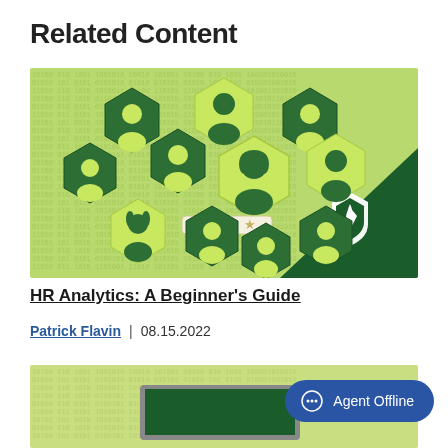Related Content
[Figure (illustration): HR Analytics course thumbnail: light green background with binary code pattern, multiple hexagonal icons each containing a silhouette of a person in dark green/yellow-green colors, a star rating bar in the center, and a dark green triangle in the bottom right corner with a white shield/flame logo.]
HR Analytics: A Beginner’s Guide
Patrick Flavin | 08.15.2022
[Figure (illustration): Partial thumbnail of another related content article, light green background visible at bottom of page.]
Agent Offline